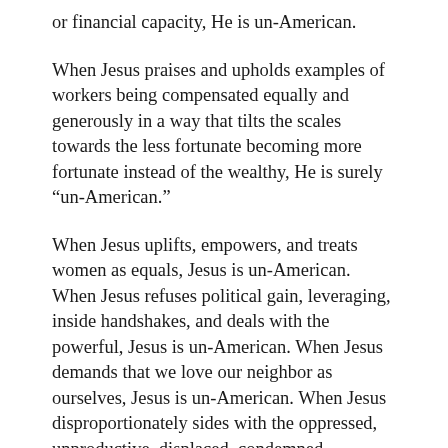or financial capacity, He is un-American.
When Jesus praises and upholds examples of workers being compensated equally and generously in a way that tilts the scales towards the less fortunate becoming more fortunate instead of the wealthy, He is surely “un-American.”
When Jesus uplifts, empowers, and treats women as equals, Jesus is un-American. When Jesus refuses political gain, leveraging, inside handshakes, and deals with the powerful, Jesus is un-American. When Jesus demands that we love our neighbor as ourselves, Jesus is un-American. When Jesus disproportionately sides with the oppressed, unproductive, displaced, condemned, forgotten, and the falsely accused, Jesus is un-American. When Jesus pronounces the least as the greatest, the outside as the inside, the different as the designed, the unsaved as the saved, the doubters as the